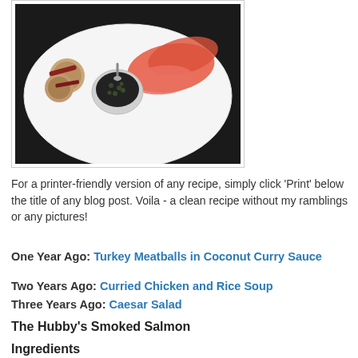[Figure (photo): A white plate with smoked salmon, small round bread/potatoes with bacon, and a small bowl of capers with a spoon]
For a printer-friendly version of any recipe, simply click 'Print' below the title of any blog post. Voila - a clean recipe without my ramblings or any pictures!
One Year Ago:  Turkey Meatballs in Coconut Curry Sauce
Two Years Ago:  Curried Chicken and Rice Soup
Three Years Ago:  Caesar Salad
The Hubby's Smoked Salmon
Ingredients
2/3 cup Kosher salt
1/2 cup dark brown sugar
1/2 cup white sugar